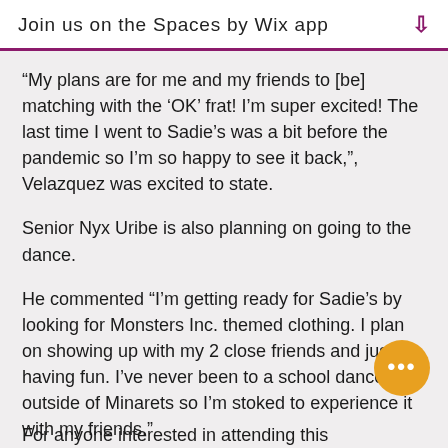Join us on the Spaces by Wix app
“My plans are for me and my friends to [be] matching with the ‘OK’ frat! I’m super excited! The last time I went to Sadie’s was a bit before the pandemic so I’m so happy to see it back,”, Velazquez was excited to state.
Senior Nyx Uribe is also planning on going to the dance.
He commented “I’m getting ready for Sadie’s by looking for Monsters Inc. themed clothing. I plan on showing up with my 2 close friends and just having fun. I’ve never been to a school dance outside of Minarets so I’m stoked to experience it with my friends.”
For anyone interested in attending this